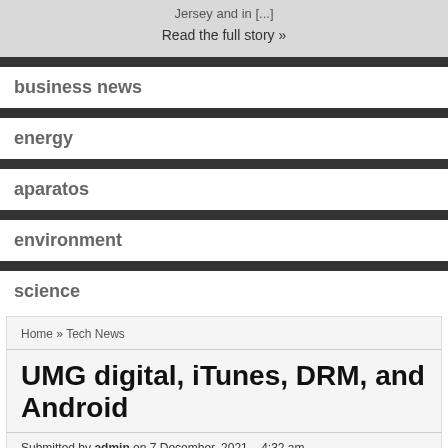Jersey and in [...]
Read the full story »
business news
energy
aparatos
environment
science
Home » Tech News
UMG digital, iTunes, DRM, and Android
Submitted by admin on 7 December, 2021 – 4:32 am